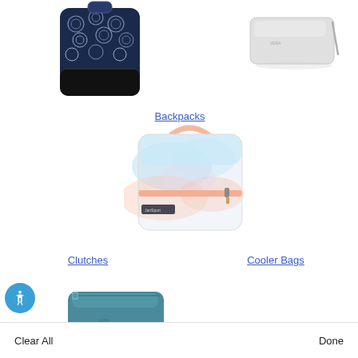[Figure (photo): Dark blue patterned backpack with owl/circular designs, black bottom panel]
[Figure (photo): Light gray/silver clutch bag with wrist strap]
Backpacks
[Figure (photo): Pastel marble/tie-dye pattern insulated cooler bag with top handle and front zipper pocket]
Clutches
Cooler Bags
[Figure (photo): Teal/dark teal slim zippered pouch/cosmetic bag]
Clear All
Done